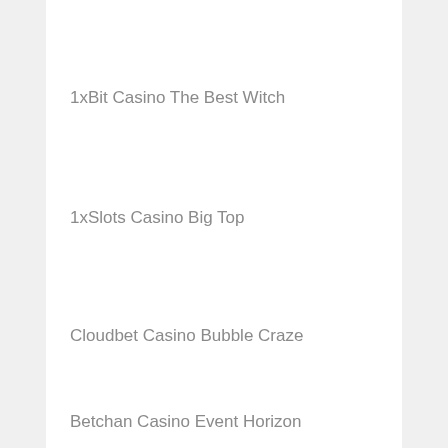1xBit Casino The Best Witch
1xSlots Casino Big Top
Cloudbet Casino Bubble Craze
Betchan Casino Event Horizon